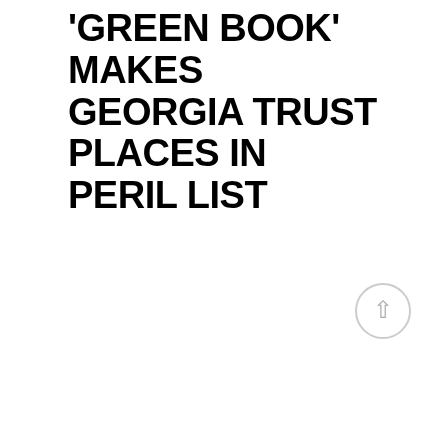'GREEN BOOK' MAKES GEORGIA TRUST PLACES IN PERIL LIST
[Figure (other): A circular scroll-to-top button with an upward-pointing arrow icon, light gray border and gray arrow]